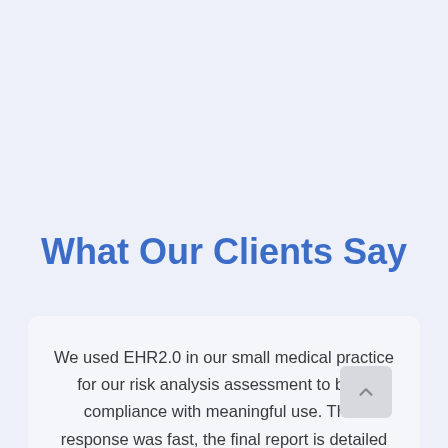What Our Clients Say
We used EHR2.0 in our small medical practice for our risk analysis assessment to be in compliance with meaningful use. Their response was fast, the final report is detailed but simple and easy to follow. They were